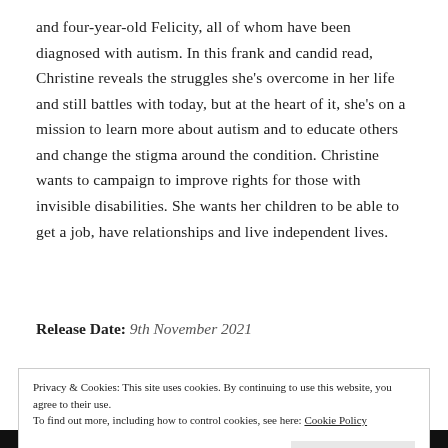and four-year-old Felicity, all of whom have been diagnosed with autism. In this frank and candid read, Christine reveals the struggles she's overcome in her life and still battles with today, but at the heart of it, she's on a mission to learn more about autism and to educate others and change the stigma around the condition. Christine wants to campaign to improve rights for those with invisible disabilities. She wants her children to be able to get a job, have relationships and live independent lives.
Release Date: 9th November 2021
Privacy & Cookies: This site uses cookies. By continuing to use this website, you agree to their use.
To find out more, including how to control cookies, see here: Cookie Policy
Close and accept